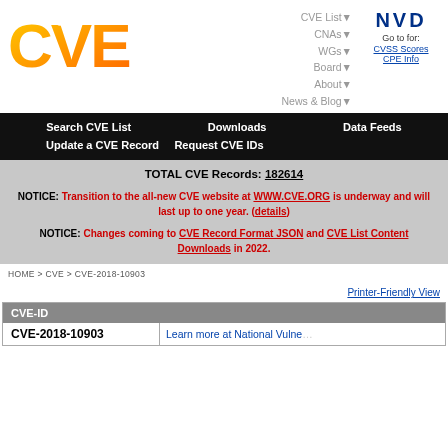[Figure (logo): CVE logo — orange gradient letters CVE with dot-matrix styling]
CVE List▼ CNAs▼ WGs▼ Board▼ About▼ News & Blog▼
NVD Go to for: CVSS Scores CPE Info
Search CVE List  Downloads  Data Feeds  Update a CVE Record  Request CVE IDs
TOTAL CVE Records: 182614
NOTICE: Transition to the all-new CVE website at WWW.CVE.ORG is underway and will last up to one year. (details)
NOTICE: Changes coming to CVE Record Format JSON and CVE List Content Downloads in 2022.
HOME > CVE > CVE-2018-10903
Printer-Friendly View
| CVE-ID |  |
| --- | --- |
| CVE-2018-10903 | Learn more at National Vulne... |